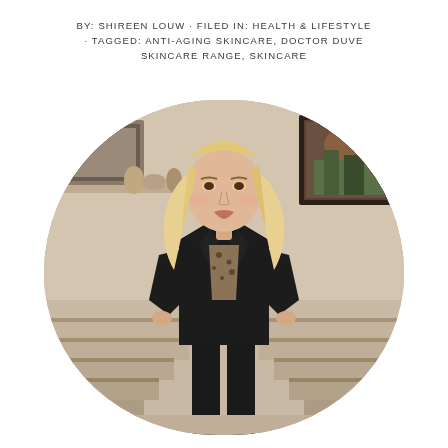BY: SHIREEN LOUW · FILED IN: HEALTH & LIFESTYLE · TAGGED: ANTI-AGING SKINCARE, DOCTOR DUVE SKINCARE RANGE, SKINCARE
[Figure (photo): A blonde woman in a black blazer and leopard-print top posing with hands on hips in front of a staircase with framed artwork on the wall. The image is cropped in a rounded arch shape.]